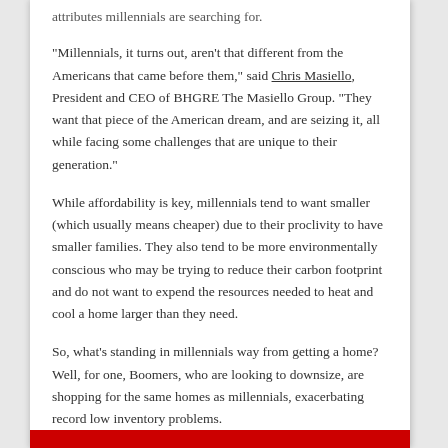attributes millennials are searching for.
"Millennials, it turns out, aren't that different from the Americans that came before them," said Chris Masiello, President and CEO of BHGRE The Masiello Group. "They want that piece of the American dream, and are seizing it, all while facing some challenges that are unique to their generation."
While affordability is key, millennials tend to want smaller (which usually means cheaper) due to their proclivity to have smaller families. They also tend to be more environmentally conscious who may be trying to reduce their carbon footprint and do not want to expend the resources needed to heat and cool a home larger than they need.
So, what's standing in millennials way from getting a home? Well, for one, Boomers, who are looking to downsize, are shopping for the same homes as millennials, exacerbating record low inventory problems.
"The lack of inventory, the high demand for those